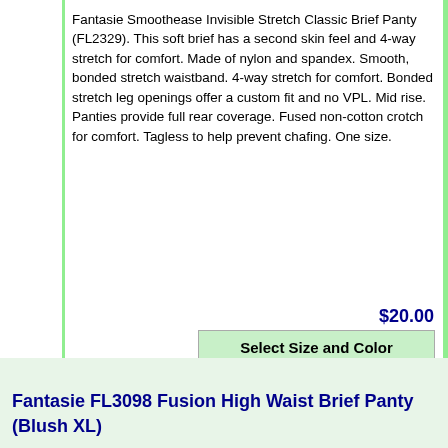Fantasie Smoothease Invisible Stretch Classic Brief Panty (FL2329). This soft brief has a second skin feel and 4-way stretch for comfort. Made of nylon and spandex. Smooth, bonded stretch waistband. 4-way stretch for comfort. Bonded stretch leg openings offer a custom fit and no VPL. Mid rise. Panties provide full rear coverage. Fused non-cotton crotch for comfort. Tagless to help prevent chafing. One size.
$20.00
Select Size and Color
2269055
[Figure (photo): Photo of a woman wearing a red classic brief panty (Fantasie Smoothease FL2329), cropped from waist to mid-thigh, torso and legs visible against white background.]
Fantasie FL3098 Fusion High Waist Brief Panty (Blush XL)